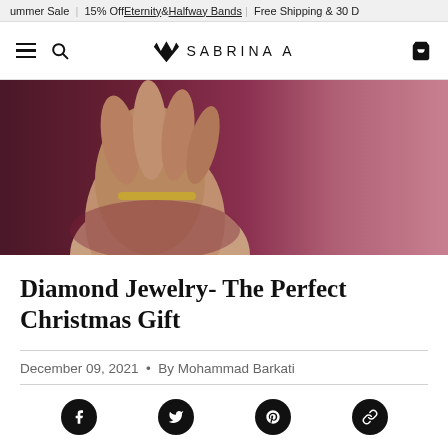ummer Sale | 15% Off Eternity & Halfway Bands | Free Shipping & 30 D
SA SABRINA A
[Figure (photo): Close-up photo of a hand wearing a gold bracelet/ring against a dark burgundy/mauve background]
Diamond Jewelry- The Perfect Christmas Gift
December 09, 2021 • By Mohammad Barkati
[Figure (infographic): Social share icons: Facebook, Twitter, Pinterest, Link]